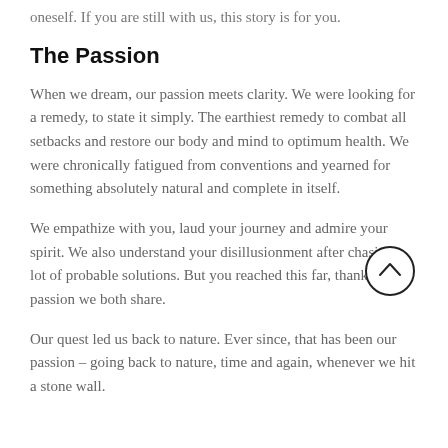oneself. If you are still with us, this story is for you.
The Passion
When we dream, our passion meets clarity. We were looking for a remedy, to state it simply. The earthiest remedy to combat all setbacks and restore our body and mind to optimum health. We were chronically fatigued from conventions and yearned for something absolutely natural and complete in itself.
We empathize with you, laud your journey and admire your spirit. We also understand your disillusionment after chasing a lot of probable solutions. But you reached this far, thanks to the passion we both share.
Our quest led us back to nature. Ever since, that has been our passion – going back to nature, time and again, whenever we hit a stone wall.